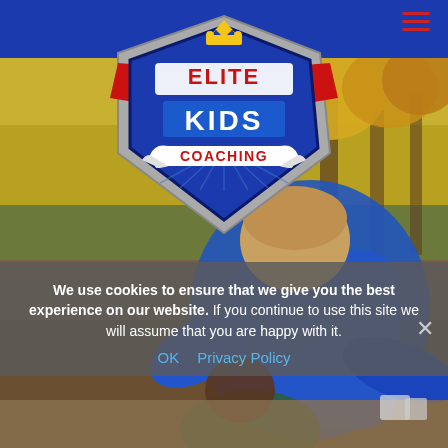[Figure (logo): Elite Kids Coaching logo — shield shape with crown, red and blue coloring, text 'ELITE KIDS COACHING' on white ribbon banner]
[Figure (photo): Outdoor photo of a coach in a blue hoodie bending down toward a child in an autumn park setting with yellow-leaved trees in the background]
We use cookies to ensure that we give you the best experience on our website. If you continue to use this site we will assume that you are happy with it.
OK   Privacy Policy